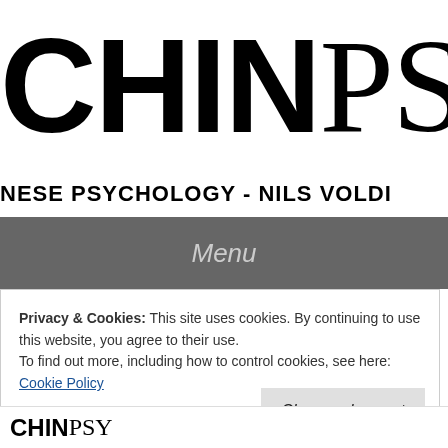CHINPSY
NESE PSYCHOLOGY - NILS VOLDI
Menu
Privacy & Cookies: This site uses cookies. By continuing to use this website, you agree to their use.
To find out more, including how to control cookies, see here: Cookie Policy
Close and accept
[Figure (logo): Partial CHINPSY logo at bottom of page]